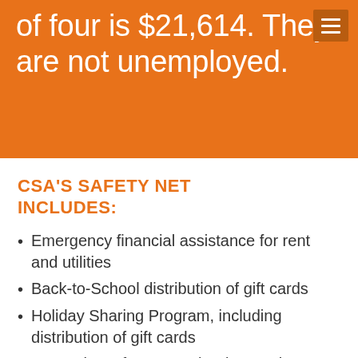of four is $21,614. They are not unemployed.
CSA'S SAFETY NET INCLUDES:
Emergency financial assistance for rent and utilities
Back-to-School distribution of gift cards
Holiday Sharing Program, including distribution of gift cards
Fee waivers for Mountain View Parks &